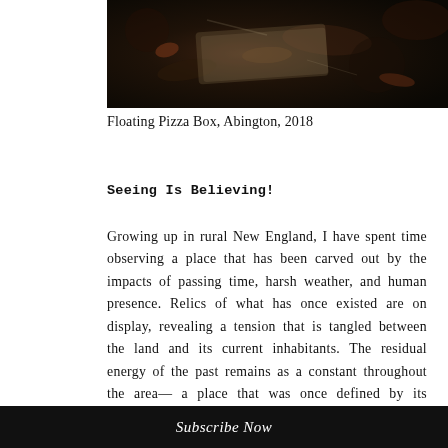[Figure (photo): Dark overhead photo of a floating pizza box in murky water with leaves and debris, Abington 2018]
Floating Pizza Box, Abington, 2018
Seeing Is Believing!
Growing up in rural New England, I have spent time observing a place that has been carved out by the impacts of passing time, harsh weather, and human presence. Relics of what has once existed are on display, revealing a tension that is tangled between the land and its current inhabitants. The residual energy of the past remains as a constant throughout the area— a place that was once defined by its working-class presence has grown to be fractured, leaving the possibility for something new to occur in its
Subscribe Now